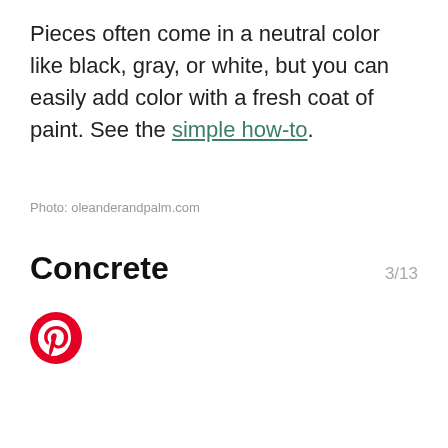Pieces often come in a neutral color like black, gray, or white, but you can easily add color with a fresh coat of paint. See the simple how-to.
Photo: oleanderandpalm.com
Concrete  3/13
[Figure (logo): Pinterest circular logo icon — white P on red circle]